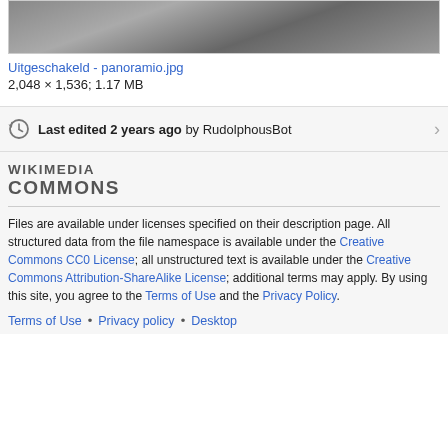[Figure (photo): Partial view of a panoramio photo, grayscale/dark image at top of page]
Uitgeschakeld - panoramio.jpg
2,048 × 1,536; 1.17 MB
Last edited 2 years ago by RudolphousBot
WIKIMEDIA COMMONS
Files are available under licenses specified on their description page. All structured data from the file namespace is available under the Creative Commons CC0 License; all unstructured text is available under the Creative Commons Attribution-ShareAlike License; additional terms may apply. By using this site, you agree to the Terms of Use and the Privacy Policy.
Terms of Use • Privacy policy • Desktop